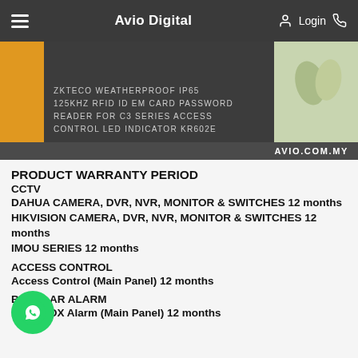Avio Digital
[Figure (photo): Product image of ZKTECO Weatherproof IP65 125KHz RFID ID EM Card Password Reader for C3 Series Access Control LED Indicator KR602E, shown on avio.com.my]
PRODUCT WARRANTY PERIOD
CCTV
DAHUA CAMERA, DVR, NVR, MONITOR & SWITCHES 12 months
HIKVISION CAMERA, DVR, NVR, MONITOR & SWITCHES 12 months
IMOU SERIES 12 months
ACCESS CONTROL
Access Control (Main Panel) 12 months
BURGLAR ALARM
PARADOX Alarm (Main Panel) 12 months